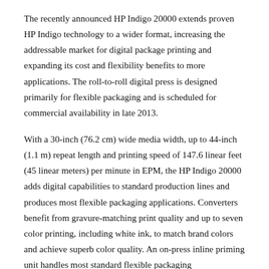The recently announced HP Indigo 20000 extends proven HP Indigo technology to a wider format, increasing the addressable market for digital package printing and expanding its cost and flexibility benefits to more applications. The roll-to-roll digital press is designed primarily for flexible packaging and is scheduled for commercial availability in late 2013.
With a 30-inch (76.2 cm) wide media width, up to 44-inch (1.1 m) repeat length and printing speed of 147.6 linear feet (45 linear meters) per minute in EPM, the HP Indigo 20000 adds digital capabilities to standard production lines and produces most flexible packaging applications. Converters benefit from gravure-matching print quality and up to seven color printing, including white ink, to match brand colors and achieve superb color quality. An on-press inline priming unit handles most standard flexible packaging